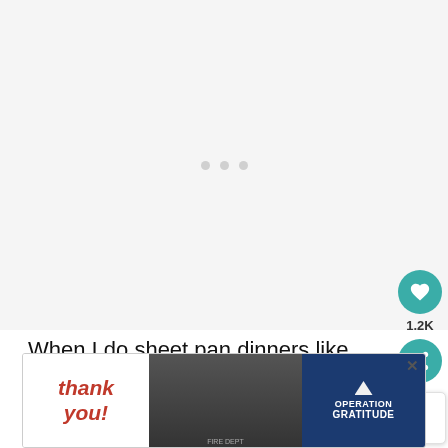[Figure (photo): Large blank/loading image placeholder area with three gray dots in the center, indicating a photo or video that has not loaded]
When I do sheet pan dinners like these Cornish game hens, this Mediterranean roasted lamb, or, this turmeric salmon, there's usually a vegetable to round out the meal on the sheet pan.
[Figure (photo): What's Next thumbnail showing a colorful steak and potato dish, labeled 'Smoky Steak Potato and...']
[Figure (photo): Advertisement banner: Thank You Operation Gratitude with firefighters photo]